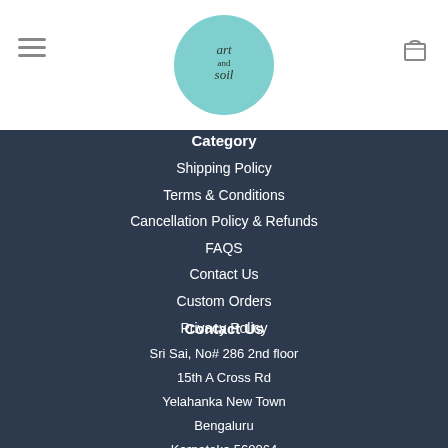[Figure (logo): Art and Soil circular logo with teal/aqua background and handwritten-style text]
Category
Shipping Policy
Terms & Conditions
Cancellation Policy & Refunds
FAQS
Contact Us
Custom Orders
Privacy Policy
Contact Us
Sri Sai, No# 286 2nd floor
15th A Cross Rd
Yelahanka New Town
Bengaluru
Karnataka 560064